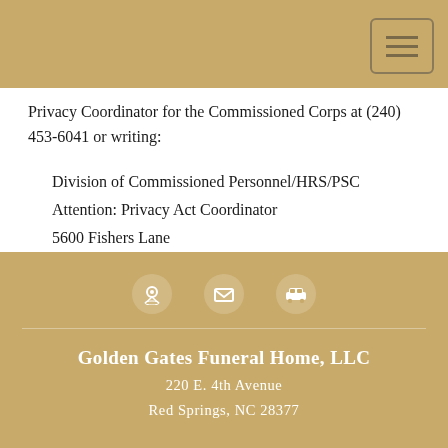Privacy Coordinator for the Commissioned Corps at (240) 453-6041 or writing:
Division of Commissioned Personnel/HRS/PSC
Attention: Privacy Act Coordinator
5600 Fishers Lane
4-36
Rockville, Maryland 20857
[Figure (infographic): Three white icons in a row on gold background: a location/contact icon, an envelope/mail icon, and a car/transport icon]
Golden Gates Funeral Home, LLC
220 E. 4th Avenue
Red Springs, NC 28377